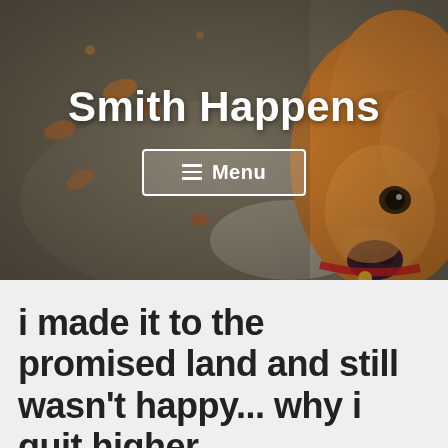[Figure (photo): Header banner photo of a golden/tan dog looking up at the camera from a wet outdoor surface with fallen leaves. The dog's face fills the right side of the image. Overlaid on the photo is the blog title 'Smith Happens' in large white bold text and a Menu button below it.]
Smith Happens
≡ Menu
i made it to the promised land and still wasn't happy... why i quit higher